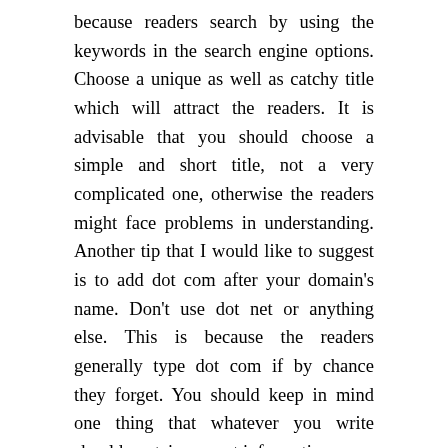because readers search by using the keywords in the search engine options. Choose a unique as well as catchy title which will attract the readers. It is advisable that you should choose a simple and short title, not a very complicated one, otherwise the readers might face problems in understanding. Another tip that I would like to suggest is to add dot com after your domain's name. Don't use dot net or anything else. This is because the readers generally type dot com if by chance they forget. You should keep in mind one thing that whatever you write should contain correct information.
Step 4- Web Hosting and Themes
This is one of the important factors to choose your hosting and theme. With the help of a theme, you can change the appearance of your blog. To install the theme. You will get a premium version also. So, in the